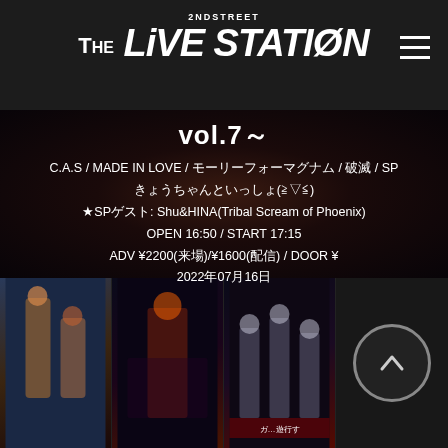2NDSTREET THE LIVE STATION
vol.7～
C.A.S / MADE IN LOVE / モーリーフォーマグナム / 破滅 / SP きょうちゃんといっしょ(≧▽≦)
★SPゲスト: Shu&HINA(Tribal Scream of Phoenix)
OPEN 16:50 / START 17:15
ADV ¥2200(来場)/¥1600(配信) / DOOR ¥
2022年07月16日
[Figure (photo): Bottom strip of four thumbnail images: performers on stage and event photos]
[Figure (other): Back to top button with upward chevron circle icon]